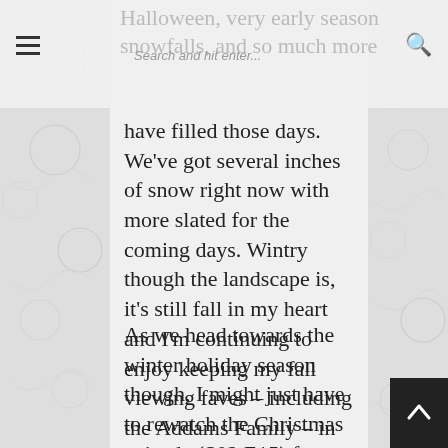Halloween, very early season snowfalls, and so much more | Search and hit enter...
have filled those days. We've got several inches of snow right now with more slated for the coming days. Wintry though the landscape is, it's still fall in my heart and I'm continuing to enjoy keeping my fall viewing faves – including the Addams Family – in heavy rotation.
As we head towards the winter holiday season though, I might just have to rewatch the Christmas episode (S02 E15) from the fabulous sixties series. 🎬